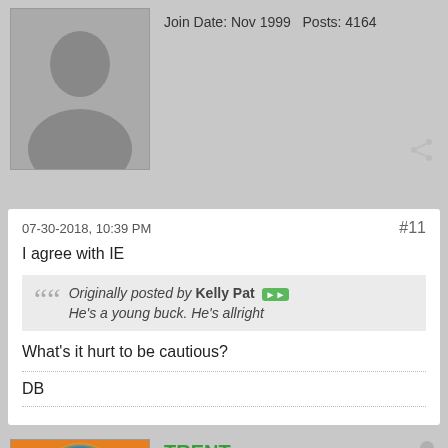Join Date: Nov 1999   Posts: 4164
07-30-2018, 10:39 PM
#11
I agree with IE
Originally posted by Kelly Pat — He's a young buck. He's allright
What's it hurt to be cautious?
DB
TRENT
Join Date: Nov 1999   Posts: 7089